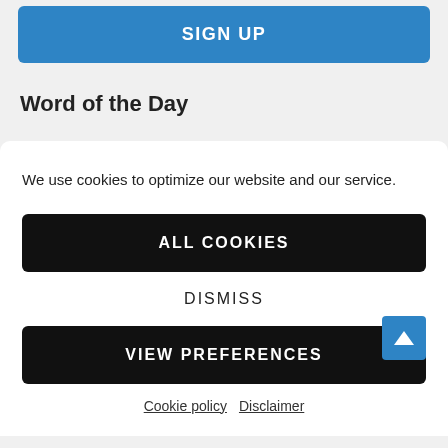SIGN UP
Word of the Day
We use cookies to optimize our website and our service.
ALL COOKIES
DISMISS
VIEW PREFERENCES
Cookie policy   Disclaimer